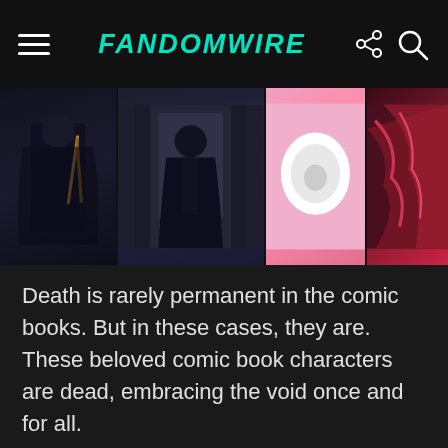FandomWire
[Figure (illustration): A strip of three comic book panels showing dark-costumed characters; the rightmost panels feature a white oval shape and red/dark dramatic imagery]
Death is rarely permanent in the comic books. But in these cases, they are. These beloved comic book characters are dead, embracing the void once and for all.